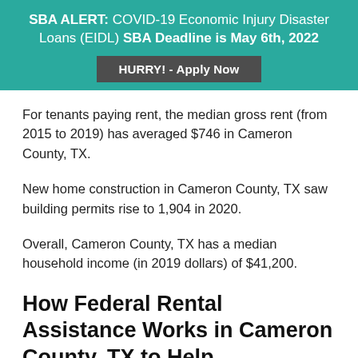SBA ALERT: COVID-19 Economic Injury Disaster Loans (EIDL) SBA Deadline is May 6th, 2022
HURRY! - Apply Now
For tenants paying rent, the median gross rent (from 2015 to 2019) has averaged $746 in Cameron County, TX.
New home construction in Cameron County, TX saw building permits rise to 1,904 in 2020.
Overall, Cameron County, TX has a median household income (in 2019 dollars) of $41,200.
How Federal Rental Assistance Works in Cameron County, TX to Help